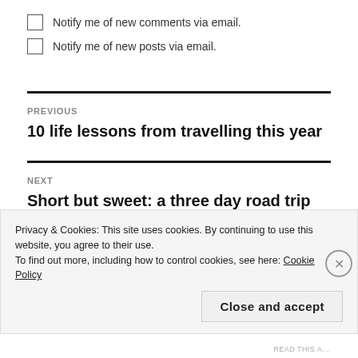Notify me of new comments via email.
Notify me of new posts via email.
PREVIOUS
10 life lessons from travelling this year
NEXT
Short but sweet: a three day road trip along the
Privacy & Cookies: This site uses cookies. By continuing to use this website, you agree to their use.
To find out more, including how to control cookies, see here: Cookie Policy
Close and accept